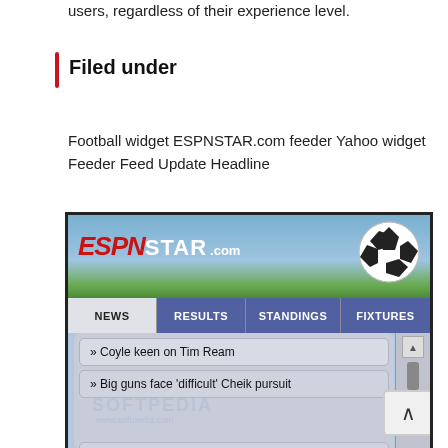users, regardless of their experience level.
Filed under
Football widget ESPNSTAR.com feeder Yahoo widget Feeder Feed Update Headline
[Figure (screenshot): Screenshot of ESPNSTAR.com football widget showing ESPN STAR logo with soccer ball, navigation tabs (NEWS, RESULTS, STANDINGS, FIXTURES), and news headlines list including: Coyle keen on Tim Ream, Big guns face 'difficult' Cheik pursuit, Dalglish offers shoulder for Suarez, Gunners relaxed over RVP deal, AVB insists Torres not for sale]